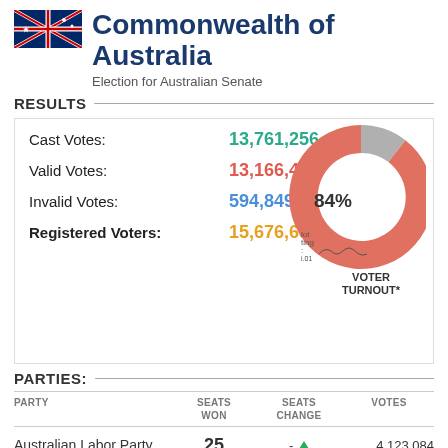[Figure (illustration): Australian flag icon, dark blue with stars]
Commonwealth of Australia
Election for Australian Senate
RESULTS
Cast Votes: 13,761,256
Valid Votes: 13,166,407
Invalid Votes: 594,849
Registered Voters: 15,676,659
[Figure (donut-chart): VOTER TURNOUT*]
PARTIES:
| PARTY | SEATS WON | SEATS CHANGE | VOTES |
| --- | --- | --- | --- |
| Australian Labor Party | 25 | - | 4,123,084 |